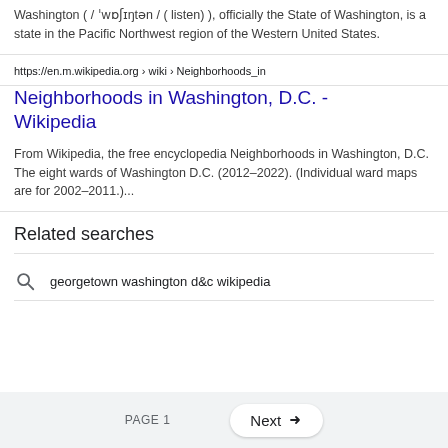Washington ( / ˈwɒʃɪŋtən / ( listen) ), officially the State of Washington, is a state in the Pacific Northwest region of the Western United States.
https://en.m.wikipedia.org › wiki › Neighborhoods_in
Neighborhoods in Washington, D.C. - Wikipedia
From Wikipedia, the free encyclopedia Neighborhoods in Washington, D.C. The eight wards of Washington D.C. (2012–2022). (Individual ward maps are for 2002–2011.)...
Related searches
georgetown washington d&c wikipedia
PAGE 1    Next →